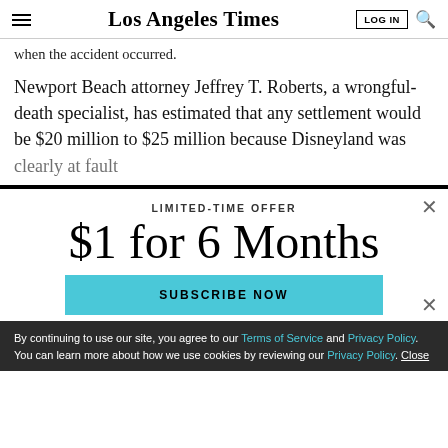Los Angeles Times | LOG IN
when the accident occurred.
Newport Beach attorney Jeffrey T. Roberts, a wrongful-death specialist, has estimated that any settlement would be $20 million to $25 million because Disneyland was clearly at fault.
LIMITED-TIME OFFER
$1 for 6 Months
SUBSCRIBE NOW
By continuing to use our site, you agree to our Terms of Service and Privacy Policy. You can learn more about how we use cookies by reviewing our Privacy Policy. Close